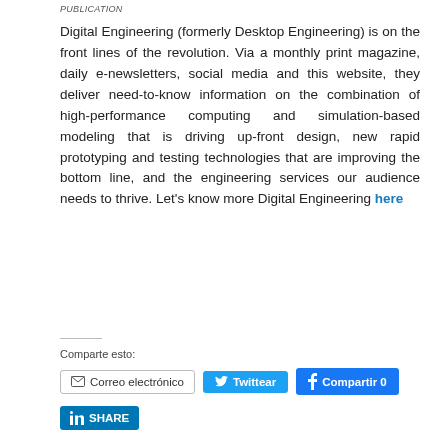PUBLICATION
Digital Engineering (formerly Desktop Engineering) is on the front lines of the revolution. Via a monthly print magazine, daily e-newsletters, social media and this website, they deliver need-to-know information on the combination of high-performance computing and simulation-based modeling that is driving up-front design, new rapid prototyping and testing technologies that are improving the bottom line, and the engineering services our audience needs to thrive. Let's know more Digital Engineering here
Comparte esto:
Correo electrónico  Twittear  Compartir 0  SHARE